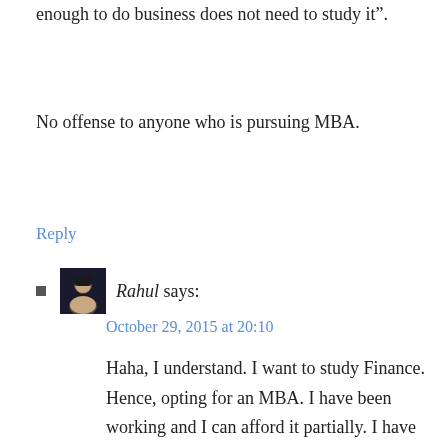enough to do business does not need to study it”.
No offense to anyone who is pursuing MBA.
Reply
Rahul says:
October 29, 2015 at 20:10
Haha, I understand. I want to study Finance. Hence, opting for an MBA. I have been working and I can afford it partially. I have asked my family for the rest. But the fees still seems a bit too much! God knows why I didn’t opt